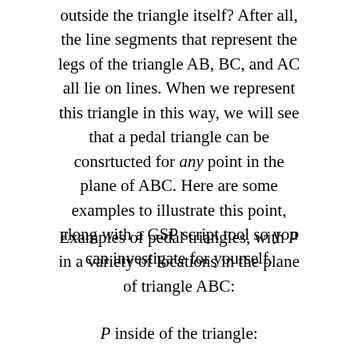outside the triangle itself? After all, the line segments that represent the legs of the triangle AB, BC, and AC all lie on lines. When we represent this triangle in this way, we will see that a pedal triangle can be consrtucted for any point in the plane of ABC. Here are some examples to illustrate this point, along with a GSP script tool so you can investigate for yourself.
Examples of pedal triangles, with P in a variety of locations in the plane of triangle ABC:
P inside of the triangle: